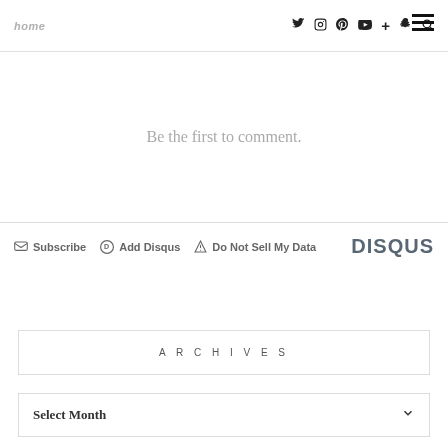Social icons navigation bar with Twitter, Instagram, Pinterest, YouTube, Plus, Snapchat, Search and hamburger menu
Be the first to comment.
Subscribe  Add Disqus  Do Not Sell My Data  DISQUS
ARCHIVES
Select Month